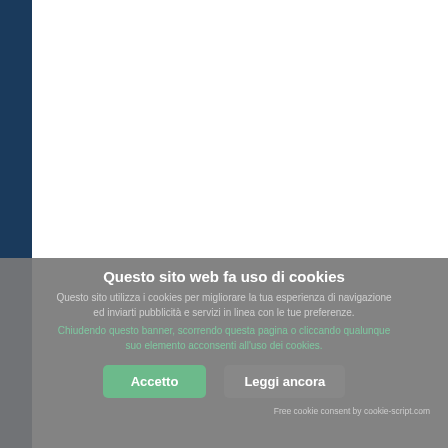[Figure (screenshot): Website screenshot with dark blue left sidebar and white main content area, partially visible webpage]
Questo sito web fa uso di cookies
Questo sito utilizza i cookies per migliorare la tua esperienza di navigazione ed inviarti pubblicità e servizi in linea con le tue preferenze.
Chiudendo questo banner, scorrendo questa pagina o cliccando qualunque suo elemento acconsenti all'uso dei cookies.
Accetto
Leggi ancora
Free cookie consent by cookie-script.com